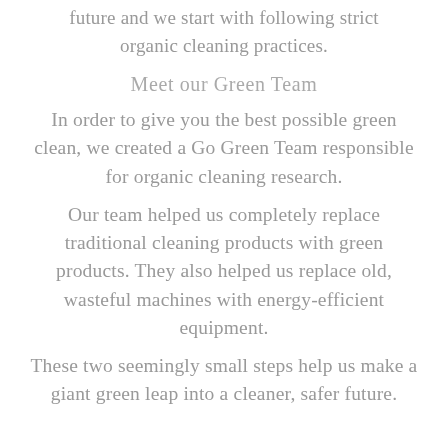future and we start with following strict organic cleaning practices.
Meet our Green Team
In order to give you the best possible green clean, we created a Go Green Team responsible for organic cleaning research.
Our team helped us completely replace traditional cleaning products with green products. They also helped us replace old, wasteful machines with energy-efficient equipment.
These two seemingly small steps help us make a giant green leap into a cleaner, safer future.